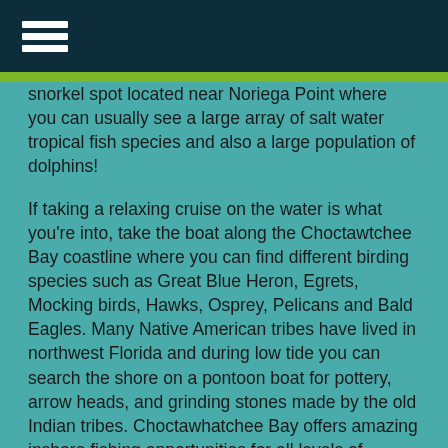[hamburger menu icon]
snorkel spot located near Noriega Point where you can usually see a large array of salt water tropical fish species and also a large population of dolphins!
If taking a relaxing cruise on the water is what you're into, take the boat along the Choctawtchee Bay coastline where you can find different birding species such as Great Blue Heron, Egrets, Mocking birds, Hawks, Osprey, Pelicans and Bald Eagles. Many Native American tribes have lived in northwest Florida and during low tide you can search the shore on a pontoon boat for pottery, arrow heads, and grinding stones made by the old Indian tribes. Choctawhatchee Bay offers amazing inshore fishing opportunities for all levels of angler. Pontoon boat rentals are perfect to fish from because of their oversized deck area.
Cruise over to the Destin Marina on your Pontoon boat rental (www.thedestinmarina.com) to grab live shrimp, live